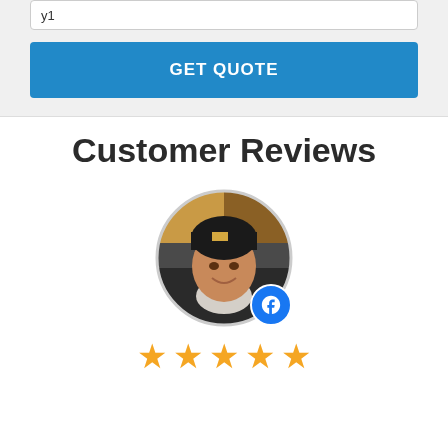y1
GET QUOTE
Customer Reviews
[Figure (photo): Circular profile photo of a smiling man wearing a black beanie hat and jacket, with a Facebook badge icon in the lower right corner of the circle.]
[Figure (infographic): Five gold/orange star rating icons in a row]